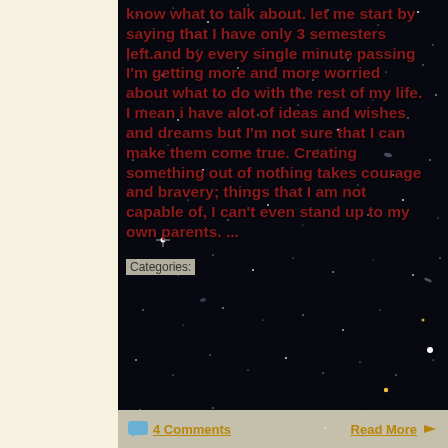[Figure (photo): Deep space/galaxy photograph showing stars and galaxies on dark background, used as blog post background]
know what to talk about. let me start by saying that I have only 3 semesters left.and by every single minute passing I'm getting more and more worried about what to do with the rest of my life. I mean i have alot of ideas and wishes and dreams but I'm not sure that I can make them come true. Creating something out of nothing takes courage and bravery; things that I am not capable of, I can't even stand up to my own parents. ...
Categories:
4 Comments    Read More